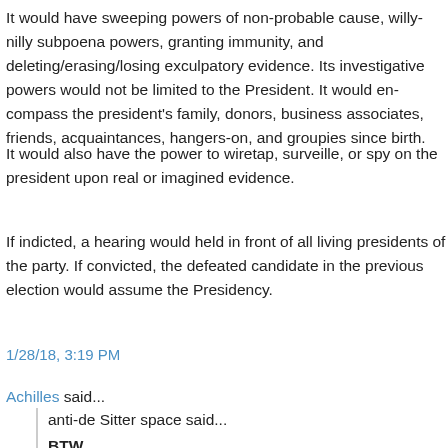It would have sweeping powers of non-probable cause, willy-nilly subpoena powers, granting immunity, and deleting/erasing/losing exculpatory ev... investigative powers would not be limited to the President. It would e... the president's family, donors, business associates, friends, acquaintan... hangers-on, and groupies since birth.
It would also have the power to wiretap, surveille, or spy on the presid... upon real or imagined evidence.
If indicted, a hearing would held in front of all living presidents of the... party. If convicted, the defeated candidate in the previous election wou... the Presidency.
1/28/18, 3:19 PM
Achilles said...
anti-de Sitter space said...
BTW,
Frum, w/ facts and historical references, tries to make the point th... forward, the Executive may need more legal restraints because a...